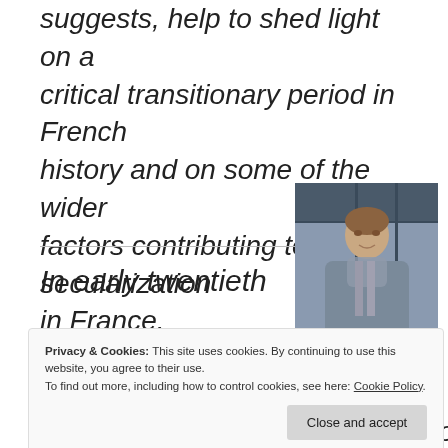suggests, help to shed light on a critical transitionary period in French history and on some of the wider factors contributing to secularization in France.
[Figure (photo): Portrait photo of a young man with short brown hair wearing a grey jacket and scarf, standing in front of a shop with glass windows]
In early twentieth
Privacy & Cookies: This site uses cookies. By continuing to use this website, you agree to their use.
To find out more, including how to control cookies, see here: Cookie Policy
Catholic Church for prohibitself told